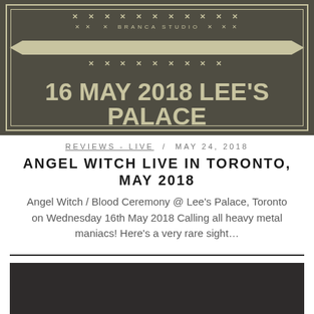[Figure (illustration): Dark olive/brown concert poster with decorative border, X pattern decorations, 'BRANCA STUDIO' text, and large text reading '16 MAY 2018 LEE'S PALACE']
REVIEWS - LIVE / MAY 24, 2018
ANGEL WITCH LIVE IN TORONTO, MAY 2018
Angel Witch / Blood Ceremony @ Lee's Palace, Toronto on Wednesday 16th May 2018 Calling all heavy metal maniacs! Here's a very rare sight…
[Figure (photo): Dark/black partially visible image at bottom of page]